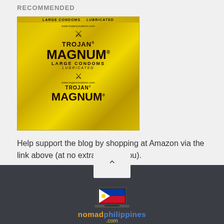RECOMMENDED
[Figure (photo): Gold foil packet of Trojan Magnum Large Condoms Lubricated with Trojan helmet logo and website www.trojancondoms.com]
Help support the blog by shopping at Amazon via the link above (at no extra cost to you).
[Figure (logo): Nomad Philippines logo with laptop showing Philippine flag, text reads nomadphilippines.com]
nomadphilippines.com